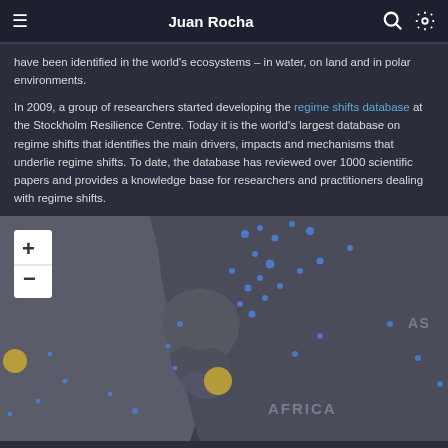Juan Rocha
have been identified in the world's ecosystems – in water, on land and in polar environments.
In 2009, a group of researchers started developing the regime shifts database at the Stockholm Resilience Centre. Today it is the world's largest database on regime shifts that identifies the main drivers, impacts and mechanisms that underlie regime shifts. To date, the database has reviewed over 1000 scientific papers and provides a knowledge base for researchers and practitioners dealing with regime shifts.
[Figure (map): Interactive world map showing geographic distribution of regime shifts as blue and gold/yellow dots. Map shows Africa and parts of Europe/Asia visible. Zoom in (+) and zoom out (-) controls visible in upper left. Continent labels show 'AFRICA' and partial 'AS' (Asia). Multiple blue dots cluster around Europe/North Africa region, with gold dots visible in Africa and other locations.]